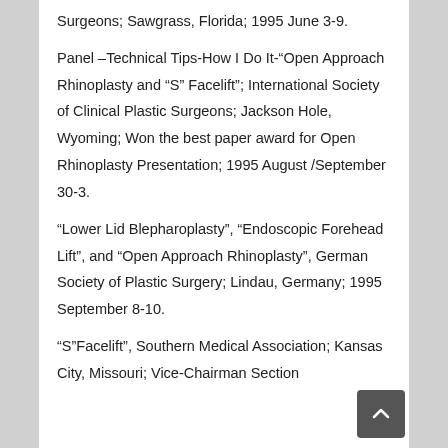Surgeons; Sawgrass, Florida; 1995 June 3-9.
Panel –Technical Tips-How I Do It-"Open Approach Rhinoplasty and "S" Facelift"; International Society of Clinical Plastic Surgeons; Jackson Hole, Wyoming; Won the best paper award for Open Rhinoplasty Presentation; 1995 August /September 30-3.
"Lower Lid Blepharoplasty", "Endoscopic Forehead Lift", and "Open Approach Rhinoplasty", German Society of Plastic Surgery; Lindau, Germany; 1995 September 8-10.
"S"Facelift", Southern Medical Association; Kansas City, Missouri; Vice-Chairman Section